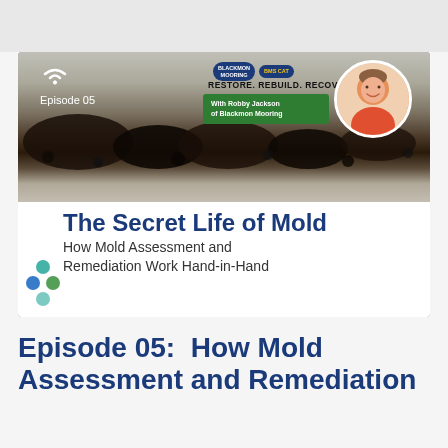[Figure (photo): Podcast episode thumbnail for 'The Secret Life of Mold' Episode 05, featuring a mold-covered surface background, Blackmon Mooring and BMS CAT logos, 'RESTORE. REBUILD. RECOVER.' tagline, 'With Robby Jackson of Blackmon Mooring' green banner, circular portrait of a man in a pink shirt, and the title 'The Secret Life of Mold - How Mold Assessment and Remediation Work Hand-in-Hand' with teal circles logo.]
Episode 05:  How Mold Assessment and Remediation